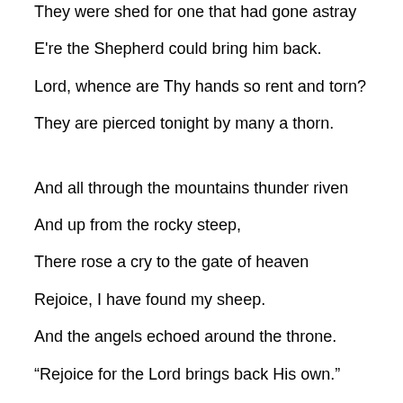They were shed for one that had gone astray
E're the Shepherd could bring him back.
Lord, whence are Thy hands so rent and torn?
They are pierced tonight by many a thorn.
And all through the mountains thunder riven
And up from the rocky steep,
There rose a cry to the gate of heaven
Rejoice, I have found my sheep.
And the angels echoed around the throne.
“Rejoice for the Lord brings back His own.”